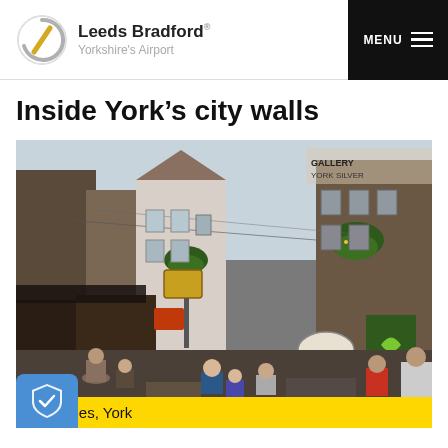Leeds Bradford Yorkshire's Airport | MENU
Inside York’s city walls
[Figure (photo): Crowded medieval street scene in The Shambles, York, with overhanging timber-framed buildings, shop signs, Christmas greenery decorations, and people walking along the narrow lane.]
Shambles, York